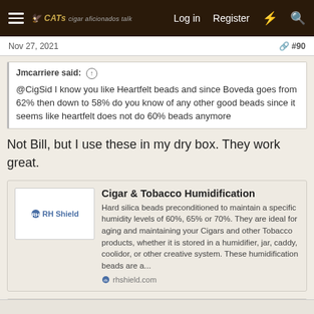Log in  Register
Nov 27, 2021  #90
Jmcarriere said: ↑
@CigSid I know you like Heartfelt beads and since Boveda goes from 62% then down to 58% do you know of any other good beads since it seems like heartfelt does not do 60% beads anymore
Not Bill, but I use these in my dry box. They work great.
[Figure (screenshot): Link card for RH Shield - Cigar & Tobacco Humidification product. Shows logo on left, title 'Cigar & Tobacco Humidification', description about hard silica beads, and rhshield.com URL.]
👍 kann